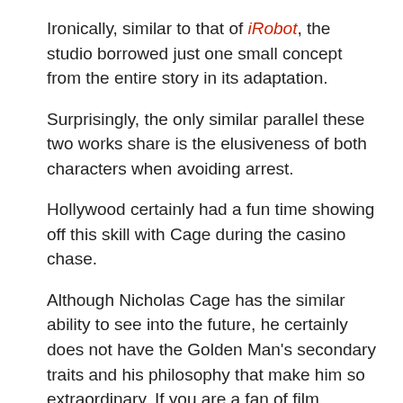Ironically, similar to that of iRobot, the studio borrowed just one small concept from the entire story in its adaptation.
Surprisingly, the only similar parallel these two works share is the elusiveness of both characters when avoiding arrest.
Hollywood certainly had a fun time showing off this skill with Cage during the casino chase.
Although Nicholas Cage has the similar ability to see into the future, he certainly does not have the Golden Man's secondary traits and his philosophy that make him so extraordinary. If you are a fan of film adaptations (as I am) you may find this interesting.